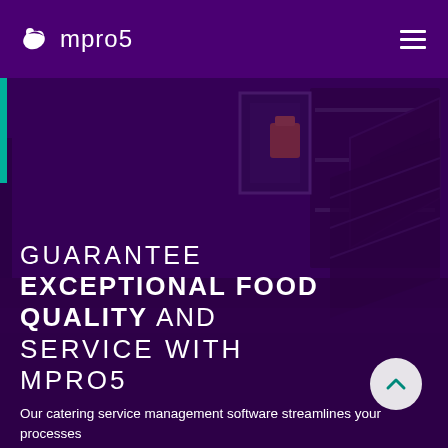mpro5
[Figure (screenshot): Hero section of mpro5 catering service management software website. Dark purple background with kitchen imagery overlay. Features large heading text and body text at the bottom.]
GUARANTEE EXCEPTIONAL FOOD QUALITY AND SERVICE WITH MPRO5
Our catering service management software streamlines your processes